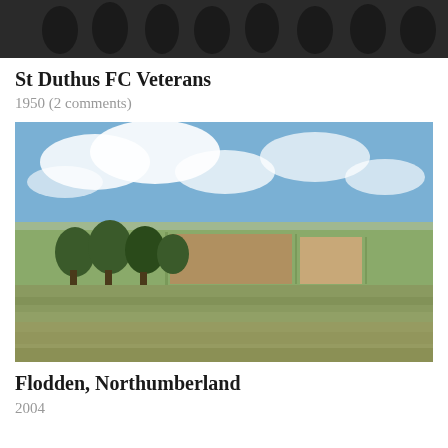[Figure (photo): Black and white photograph showing a group of people, St Duthus FC Veterans, cropped at top of page]
St Duthus FC Veterans
1950 (2 comments)
[Figure (photo): Colour landscape photograph of Flodden, Northumberland showing rolling farmland with fields, trees, and a partly cloudy sky]
Flodden, Northumberland
2004